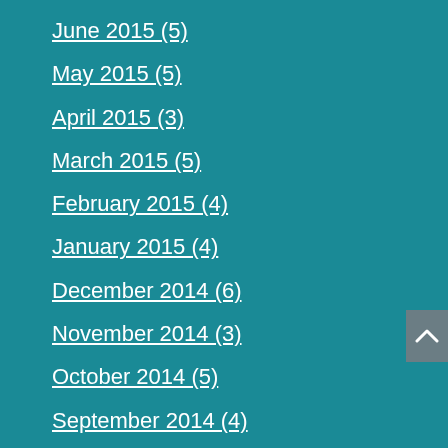June 2015 (5)
May 2015 (5)
April 2015 (3)
March 2015 (5)
February 2015 (4)
January 2015 (4)
December 2014 (6)
November 2014 (3)
October 2014 (5)
September 2014 (4)
August 2014 (4)
July 2014 (5)